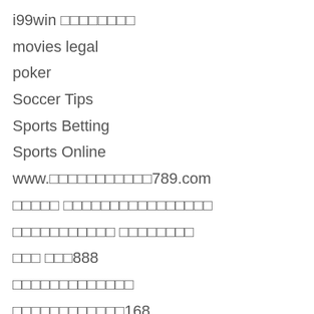i99win
movies legal
poker
Soccer Tips
Sports Betting
Sports Online
www.           789.com
888
168
50